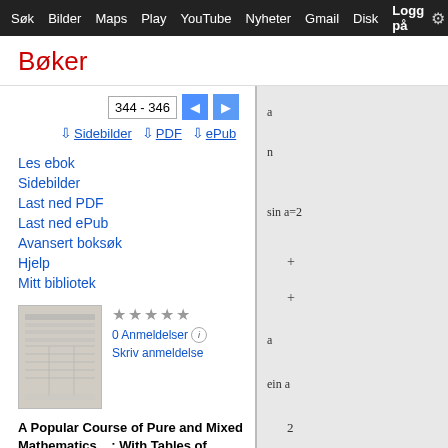Søk  Bilder  Maps  Play  YouTube  Nyheter  Gmail  Disk  Logg på  ⚙
Bøker
Les ebok
Sidebilder
Last ned PDF
Last ned ePub
Avansert boksøk
Hjelp
Mitt bibliotek
[Figure (screenshot): Book thumbnail image showing table/grid content]
★★★★★ 0 Anmeldelser ⓘ Skriv anmeldelse
A Popular Course of Pure and Mixed Mathematics ...: With Tables of ...
[Figure (screenshot): Book preview page showing mathematical content including partial text: a, n, sin a=2, +, +, a, ein a, 2]
344 - 346
Sidebilder  ⬇ PDF  ⬇ ePub